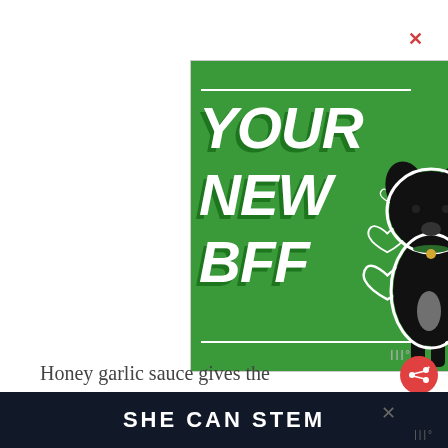[Figure (illustration): Green advertisement banner showing a black dog (Labrador mix) sitting upright against a green background with large white italic bold text reading 'YOUR NEW BFF' with heart outlines and two white horizontal lines. An X close button appears in the top right corner.]
Honey garlic sauce gives the
SHE CAN STEM